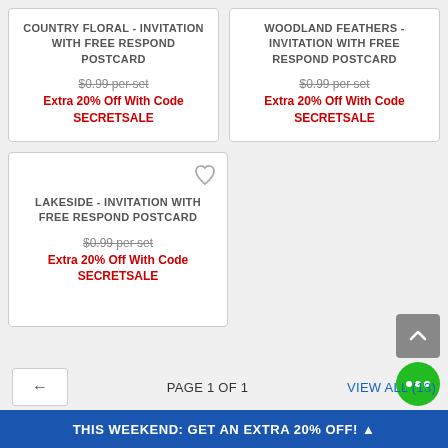COUNTRY FLORAL - INVITATION WITH FREE RESPOND POSTCARD
$0.99 per set
Extra 20% Off With Code SECRETSALE
WOODLAND FEATHERS - INVITATION WITH FREE RESPOND POSTCARD
$0.99 per set
Extra 20% Off With Code SECRETSALE
LAKESIDE - INVITATION WITH FREE RESPOND POSTCARD
$0.99 per set
Extra 20% Off With Code SECRETSALE
PAGE 1 OF 1
VIEW ALL (13)
THIS WEEKEND: GET AN EXTRA 20% OFF!